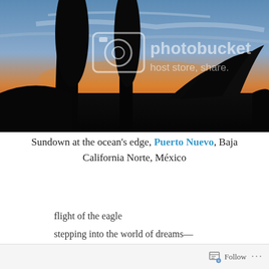[Figure (photo): Sunset photo of cactus silhouettes against an orange and blue sky at the ocean's edge. A Photobucket watermark is visible overlay on the image with text 'photobucket host store share.']
Sundown at the ocean's edge, Puerto Nuevo, Baja California Norte, México
flight of the eagle
stepping into the world of dreams—
Follow